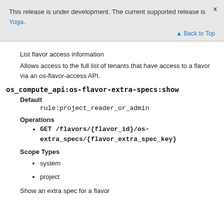This release is under development. The current supported release is Yoga.
Back to Top
List flavor access information
Allows access to the full list of tenants that have access to a flavor via an os-flavor-access API.
os_compute_api:os-flavor-extra-specs:show
Default
rule:project_reader_or_admin
Operations
GET /flavors/{flavor_id}/os-extra_specs/{flavor_extra_spec_key}
Scope Types
system
project
Show an extra spec for a flavor